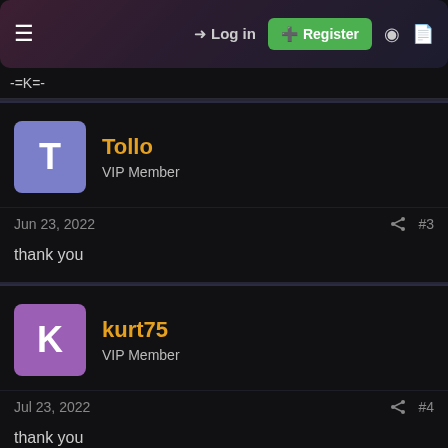Log in | Register
-=K=-
Tollo
VIP Member
Jun 23, 2022  #3
thank you
kurt75
VIP Member
Jul 23, 2022  #4
thank you